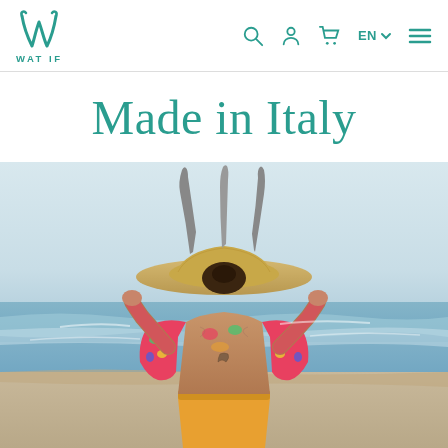[Figure (logo): WAT IF brand logo — stylized W letter in teal with 'WAT IF' text below]
Made in Italy
[Figure (photo): Woman seen from behind on a beach, wearing a colorful floral long-sleeve swimsuit top and holding a large straw hat with fins/surfboard parts above her head. Ocean waves visible in background.]